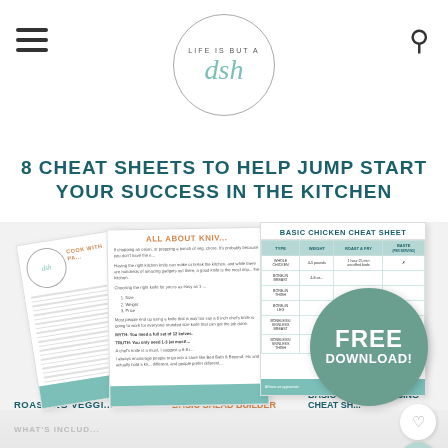Life Is But A Dish — logo header with hamburger menu and search icon
8 CHEAT SHEETS TO HELP JUMP START YOUR SUCCESS IN THE KITCHEN
[Figure (illustration): Fan of 5 cheat sheet preview cards including: Cook With Pantry Basics, All About Knives, Basic Chicken Cheat Sheet, Basic Salad Builder, Basic Salad Dressing Cheat Sheet. A green circle badge reads FREE DOWNLOAD.]
ROASTING VEGGI...
BASIC SALAD BUILDER
BASIC SALAD DRESSING CHEAT SH...